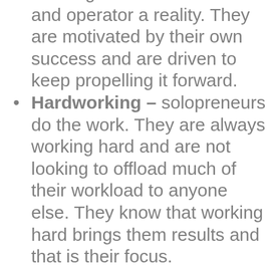of being a business owner and operator a reality. They are motivated by their own success and are driven to keep propelling it forward.
Hardworking – solopreneurs do the work. They are always working hard and are not looking to offload much of their workload to anyone else. They know that working hard brings them results and that is their focus.
Self-focused – a solopreneur is not concerned with having their name on a huge billboard or having hundreds of employees. They are focused on doing their own